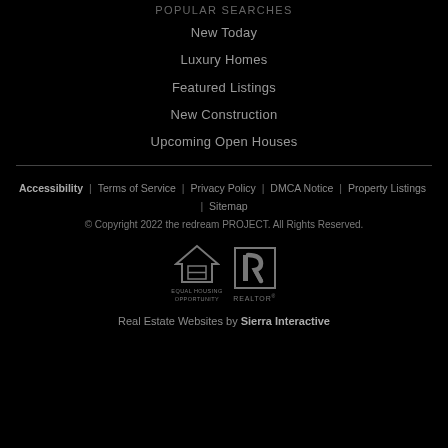POPULAR SEARCHES
New Today
Luxury Homes
Featured Listings
New Construction
Upcoming Open Houses
Accessibility | Terms of Service | Privacy Policy | DMCA Notice | Property Listings | Sitemap
© Copyright 2022 the redream PROJECT. All Rights Reserved.
[Figure (logo): Equal Housing Opportunity logo and REALTOR® logo side by side]
Real Estate Websites by Sierra Interactive